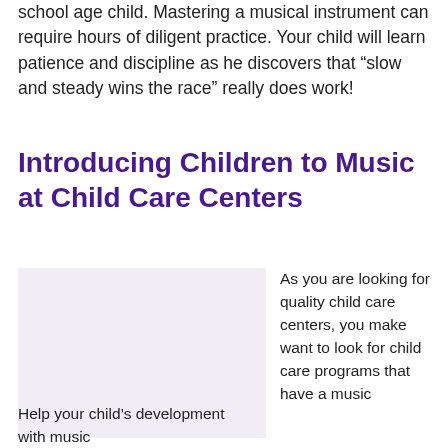school age child. Mastering a musical instrument can require hours of diligent practice. Your child will learn patience and discipline as he discovers that “slow and steady wins the race” really does work!
Introducing Children to Music at Child Care Centers
[Figure (photo): Light gray/lavender placeholder image for a photo related to child care and music]
As you are looking for quality child care centers, you make want to look for child care programs that have a music
Help your child’s development with music